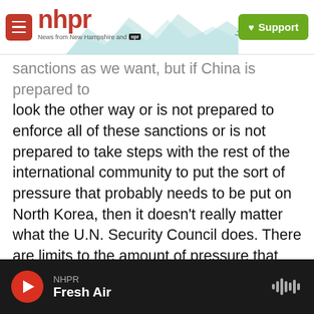nhpr — News from New Hampshire and NPR | Support
sanctions as we want, but if China is prepared to look the other way or is not prepared to enforce all of these sanctions or is not prepared to take steps with the rest of the international community to put the sort of pressure that probably needs to be put on North Korea, then it doesn't really matter what the U.N. Security Council does. There are limits to the amount of pressure that we'll be able to bring to bear on North Korea.
CORNISH: Given what you've told us about the relationship between North Korea and China, do you think that will be the case?
NHPR — Fresh Air